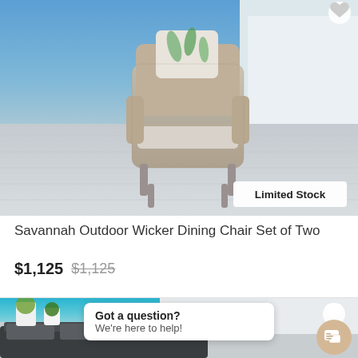[Figure (photo): Savannah outdoor wicker dining chair with floral pillow on outdoor patio, blue sky background, with 'Limited Stock' badge overlay]
Savannah Outdoor Wicker Dining Chair Set of Two
$1,125 $1,125
[Figure (photo): Dark grey outdoor sectional sofa set with cushions, potted plants in background, poolside setting, with chat bubble overlay 'Got a question? We're here to help!']